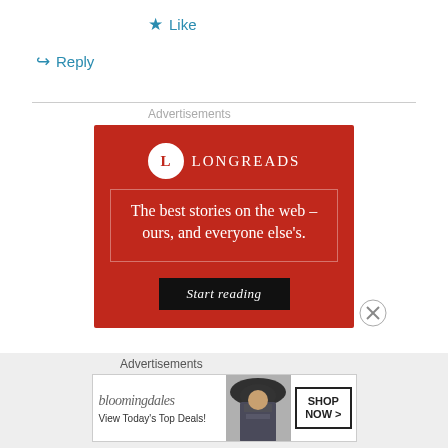★ Like
↪ Reply
Advertisements
[Figure (screenshot): Longreads advertisement on red background with text 'The best stories on the web – ours, and everyone else's.' and a 'Start reading' button]
Advertisements
[Figure (screenshot): Bloomingdale's advertisement showing logo, 'View Today's Top Deals!' text, woman in hat photo, and SHOP NOW button]